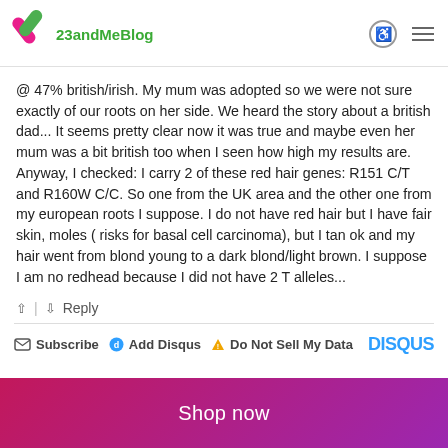23andMeBlog
@ 47% british/irish. My mum was adopted so we were not sure exactly of our roots on her side. We heard the story about a british dad... It seems pretty clear now it was true and maybe even her mum was a bit british too when I seen how high my results are. Anyway, I checked: I carry 2 of these red hair genes: R151 C/T and R160W C/C. So one from the UK area and the other one from my european roots I suppose. I do not have red hair but I have fair skin, moles ( risks for basal cell carcinoma), but I tan ok and my hair went from blond young to a dark blond/light brown. I suppose I am no redhead because I did not have 2 T alleles...
Reply
Subscribe  Add Disqus  Do Not Sell My Data  DISQUS
Shop now